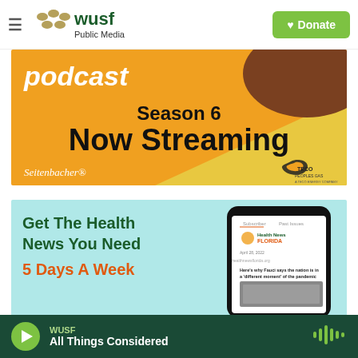WUSF Public Media | Donate
[Figure (screenshot): Podcast advertisement banner: orange/yellow background with brown bowl top-right, text 'podcast Season 6 Now Streaming', logos for Seitenbacher and TECO Peoples Gas at bottom]
[Figure (screenshot): Health News Florida newsletter advertisement: light teal background, text 'Get The Health News You Need 5 Days A Week' with a phone mockup showing the Health News Florida newsletter]
WUSF | All Things Considered (audio player with play button and waveform)